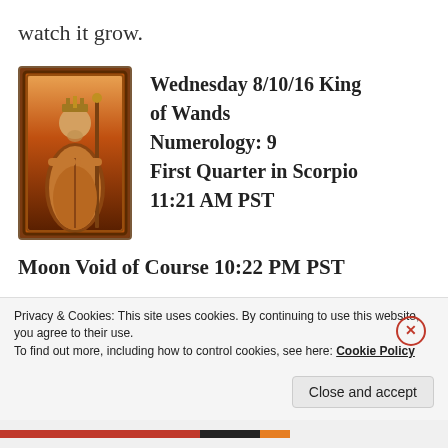watch it grow.
[Figure (illustration): Tarot card illustration: King of Wands, showing a robed figure with a crown, holding a staff, with warm orange and red tones and an ornate border.]
Wednesday 8/10/16 King of Wands
Numerology: 9
First Quarter in Scorpio 11:21 AM PST
Moon Void of Course 10:22 PM PST
As we’ve progressed through the week, we’ve given ourselves the space to rest and through that, we’ve been able to
Privacy & Cookies: This site uses cookies. By continuing to use this website, you agree to their use.
To find out more, including how to control cookies, see here: Cookie Policy
Close and accept